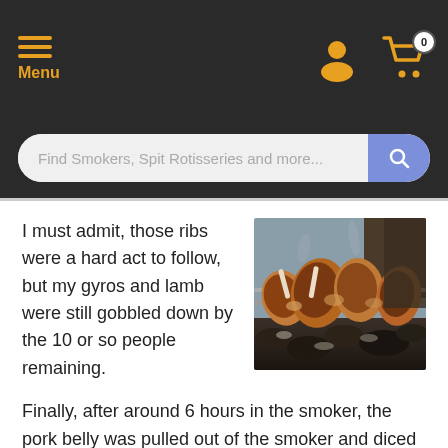Menu | [person icon] | [cart icon 0]
Find Smokers, Spit Rotisseries and more...
[Figure (photo): Close-up photo of meat (gyros/lamb) roasting on a rotisserie spit over charcoal]
I must admit, those ribs were a hard act to follow, but my gyros and lamb were still gobbled down by the 10 or so people remaining.
Finally, after around 6 hours in the smoker, the pork belly was pulled out of the smoker and diced into cubes. The flavour was to die for. It was hard to believe that just sea salt and smoke could give such an amazing flavour.